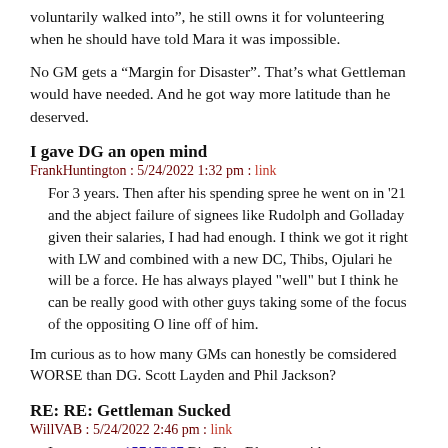voluntarily walked into”, he still owns it for volunteering when he should have told Mara it was impossible.
No GM gets a “Margin for Disaster”. That’s what Gettleman would have needed. And he got way more latitude than he deserved.
I gave DG an open mind
FrankHuntington : 5/24/2022 1:32 pm : link
For 3 years. Then after his spending spree he went on in '21 and the abject failure of signees like Rudolph and Golladay given their salaries, I had had enough. I think we got it right with LW and combined with a new DC, Thibs, Ojulari he will be a force. He has always played "well" but I think he can be really good with other guys taking some of the focus of the oppositing O line off of him.
Im curious as to how many GMs can honestly be comsidered WORSE than DG. Scott Layden and Phil Jackson?
RE: RE: Gettleman Sucked
WillVAB : 5/24/2022 2:46 pm : link
In comment 15717267 Big Blue Blogger said:
Quote: